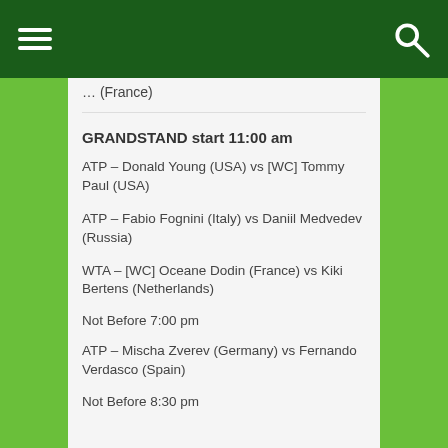[hamburger menu] [search icon]
… (France)
GRANDSTAND start 11:00 am
ATP – Donald Young (USA) vs [WC] Tommy Paul (USA)
ATP – Fabio Fognini (Italy) vs Daniil Medvedev (Russia)
WTA – [WC] Oceane Dodin (France) vs Kiki Bertens (Netherlands)
Not Before 7:00 pm
ATP – Mischa Zverev (Germany) vs Fernando Verdasco (Spain)
Not Before 8:30 pm